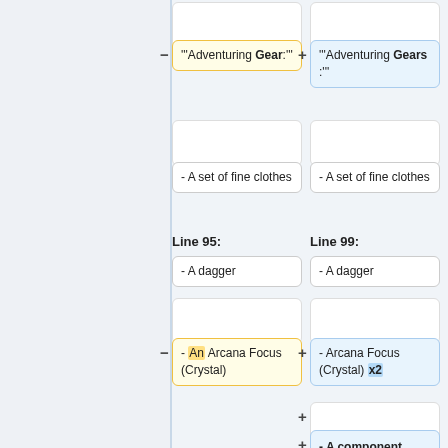[Figure (other): Diff view showing two-column comparison of wiki text changes. Left column shows removed content (yellow highlight), right column shows added content (blue highlight). Shows changes to 'Adventuring Gear' text, fine clothes items, dagger items, and Arcana Focus entries. Also shows new additions: 'Arcana Focus (Crystal) x2', a blank added line, and '- A component pouch'.]